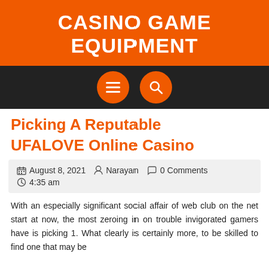CASINO GAME EQUIPMENT
[Figure (screenshot): Navigation bar with dark background containing two orange circular icon buttons: a hamburger menu icon and a search/magnify icon]
Picking A Reputable UFALOVE Online Casino
August 8, 2021  Narayan  0 Comments  4:35 am
With an especially significant social affair of web club on the net start at now, the most zeroing in on trouble invigorated gamers have is picking 1. What clearly is certainly more, to be skilled to find one that may be